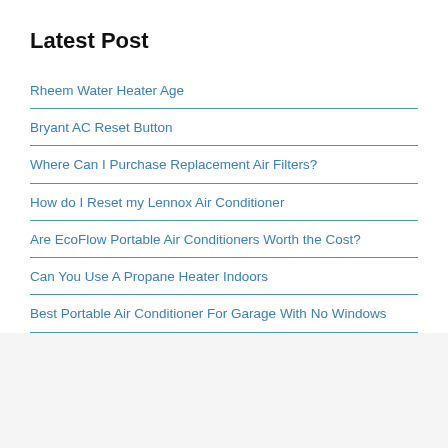Latest Post
Rheem Water Heater Age
Bryant AC Reset Button
Where Can I Purchase Replacement Air Filters?
How do I Reset my Lennox Air Conditioner
Are EcoFlow Portable Air Conditioners Worth the Cost?
Can You Use A Propane Heater Indoors
Best Portable Air Conditioner For Garage With No Windows